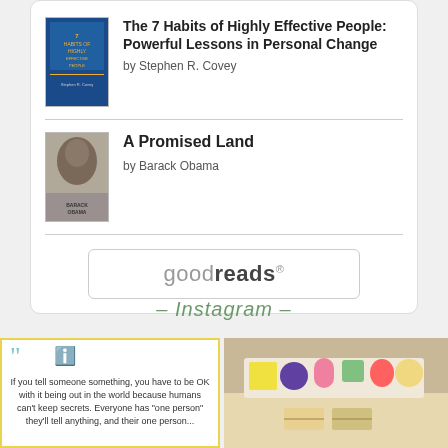[Figure (other): Goodreads widget showing two books: 'The 7 Habits of Highly Effective People: Powerful Lessons in Personal Change' by Stephen R. Covey and 'A Promised Land' by Barack Obama, with the Goodreads logo at bottom]
- Instagram -
[Figure (photo): Instagram quote post with yellow border, teal quotation marks, showing text: 'If you tell someone something, you have to be OK with it being out in the world because humans can't keep secrets. Everyone has "one person" they'll tell anything. and their one person...']
[Figure (photo): Instagram food photo showing desserts and sandwiches on a tiered stand]